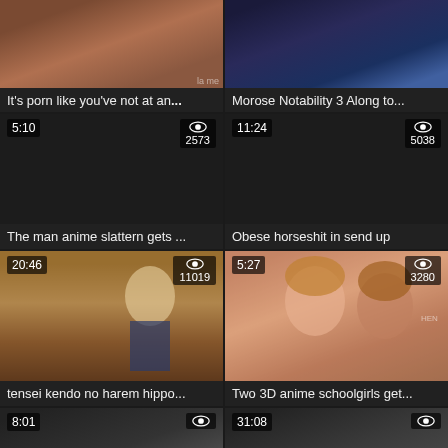[Figure (screenshot): Video thumbnail grid - top left: adult 3D animation, title: It's porn like you've not at an...]
It's porn like you've not at an...
[Figure (screenshot): Video thumbnail - top right: 3D animated scene with dark/blue lighting, title: Morose Notability 3 Along to...]
Morose Notability 3 Along to...
[Figure (screenshot): Dark video thumbnail - duration 5:10, views 2573, title: The man anime slattern gets ...]
The man anime slattern gets ...
[Figure (screenshot): Dark video thumbnail - duration 11:24, views 5038, title: Obese horseshit in send up]
Obese horseshit in send up
[Figure (screenshot): Anime thumbnail - duration 20:46, views 11019, title: tensei kendo no harem hippo...]
tensei kendo no harem hippo...
[Figure (screenshot): 3D anime schoolgirls thumbnail - duration 5:27, views 3280, title: Two 3D anime schoolgirls get...]
Two 3D anime schoolgirls get...
[Figure (screenshot): Partial thumbnail bottom left - duration 8:01]
[Figure (screenshot): Partial thumbnail bottom right - duration 31:08]